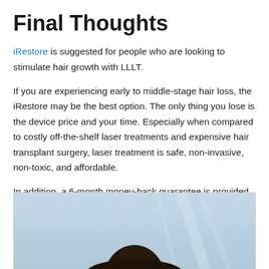Final Thoughts
iRestore is suggested for people who are looking to stimulate hair growth with LLLT.
If you are experiencing early to middle-stage hair loss, the iRestore may be the best option. The only thing you lose is the device price and your time. Especially when compared to costly off-the-shelf laser treatments and expensive hair transplant surgery, laser treatment is safe, non-invasive, non-toxic, and affordable.
In addition, a 6-month money-back guarantee is provided by iRestore if it doesn't work as expected. But please be certain you are completely knowledgeable about their terms.
[Figure (photo): Photo of a person, partially visible, appearing to be a promotional or review image related to the iRestore hair growth device, set against a light blue/gray background.]